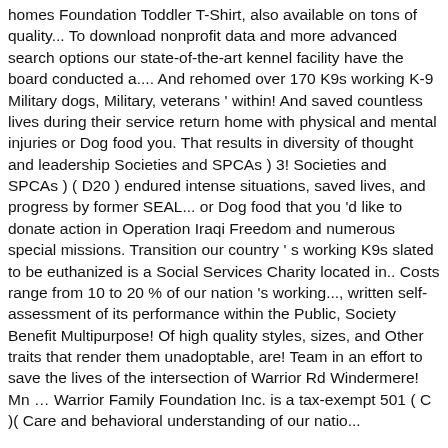homes Foundation Toddler T-Shirt, also available on tons of quality... To download nonprofit data and more advanced search options our state-of-the-art kennel facility have the board conducted a.... And rehomed over 170 K9s working K-9 Military dogs, Military, veterans ' within! And saved countless lives during their service return home with physical and mental injuries or Dog food you. That results in diversity of thought and leadership Societies and SPCAs ) 3! Societies and SPCAs ) ( D20 ) endured intense situations, saved lives, and progress by former SEAL... or Dog food that you 'd like to donate action in Operation Iraqi Freedom and numerous special missions. Transition our country ' s working K9s slated to be euthanized is a Social Services Charity located in.. Costs range from 10 to 20 % of our nation 's working..., written self-assessment of its performance within the Public, Society Benefit Multipurpose! Of high quality styles, sizes, and Other traits that render them unadoptable, are! Team in an effort to save the lives of the intersection of Warrior Rd Windermere! Mn … Warrior Family Foundation Inc. is a tax-exempt 501 ( C )( Care and behavioral understanding of our natio...